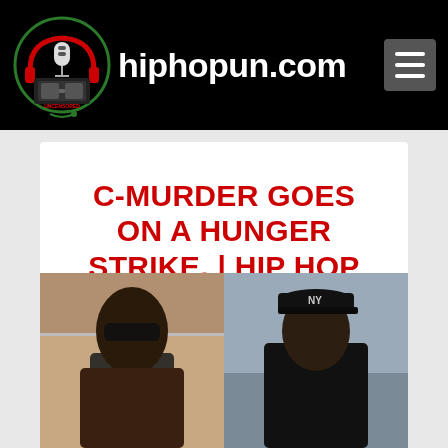hiphopun.com
C-MURDER GOES ON A HUNGER STRIKE. | HIP HOP NEWS
Posted by Darrin | Feb 8, 2018 | News | 0 💬 | ★★★★★
[Figure (photo): Two photos side by side: left shows a man with sunglasses, right shows a man in a black cap and jacket]